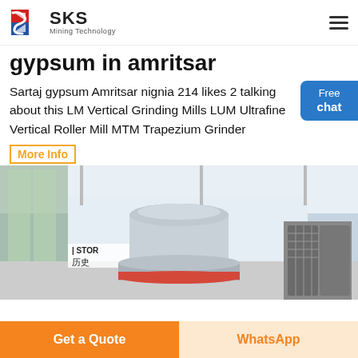SKS Mining Technology
gypsum in amritsar
Sartaj gypsum Amritsar nignia 214 likes 2 talking about this LM Vertical Grinding Mills LUM Ultrafine Vertical Roller Mill MTM Trapezium Grinder
More Info
[Figure (photo): Industrial grinding mill equipment displayed in a large indoor hall with Chinese signage 'STOR 历史' visible in the background. A large vertical roller mill machine is shown prominently in the center.]
Get a Quote | WhatsApp